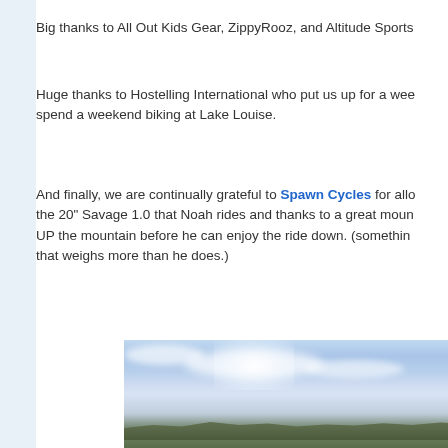Big thanks to All Out Kids Gear, ZippyRooz, and Altitude Sports
Huge thanks to Hostelling International who put us up for a week... spend a weekend biking at Lake Louise.
And finally, we are continually grateful to Spawn Cycles for all the 20" Savage 1.0 that Noah rides and thanks to a great moun... UP the mountain before he can enjoy the ride down. (something that weighs more than he does.)
[Figure (photo): Landscape photo showing a wide blue sky with wispy clouds and a distant mountain/hill ridge at the bottom, taken from an elevated viewpoint.]